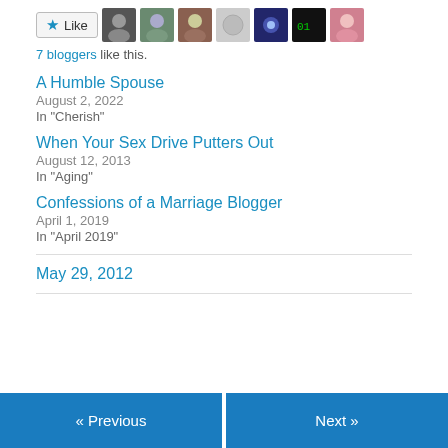[Figure (other): Like button with star icon followed by 7 blogger avatar thumbnails]
7 bloggers like this.
A Humble Spouse
August 2, 2022
In "Cherish"
When Your Sex Drive Putters Out
August 12, 2013
In "Aging"
Confessions of a Marriage Blogger
April 1, 2019
In "April 2019"
May 29, 2012
« Previous
Next »